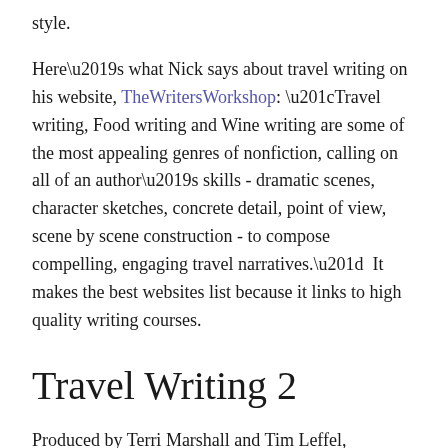style.
Here’s what Nick says about travel writing on his website, TheWritersWorkshop: “Travel writing, Food writing and Wine writing are some of the most appealing genres of nonfiction, calling on all of an author’s skills - dramatic scenes, character sketches, concrete detail, point of view, scene by scene construction - to compose compelling, engaging travel narratives.”  It makes the best websites list because it links to high quality writing courses.
Travel Writing 2
Produced by Terri Marshall and Tim Leffel, “This travel writing blog site aims to be the most definitive, detailed